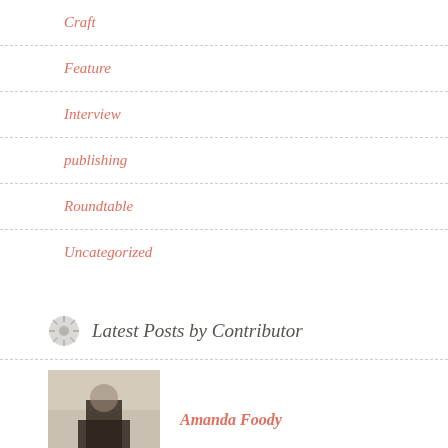Craft
Feature
Interview
publishing
Roundtable
Uncategorized
Latest Posts by Contributor
Amanda Foody
How to develop your personal prose style